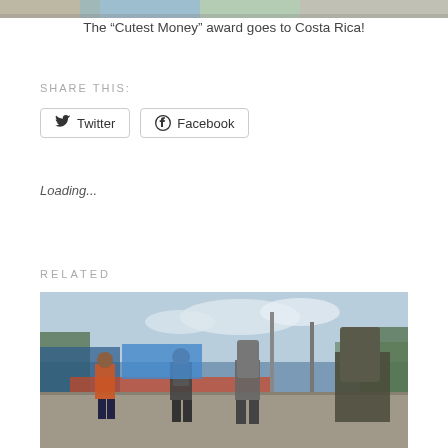[Figure (photo): Partial top image of colorful Costa Rica currency]
The “Cutest Money” award goes to Costa Rica!
SHARE THIS:
Twitter  Facebook
Loading...
RELATED
[Figure (photo): People with backpacks walking at a border crossing or outdoor event area with blue sky and fencing visible]